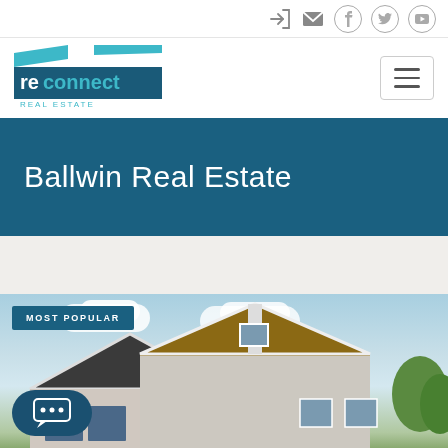Navigation icons: login, mail, facebook, twitter, youtube
[Figure (logo): Reconnect Real Estate logo — teal and dark blue geometric house shapes with 're|connect' wordmark and 'REAL ESTATE' subtitle]
Ballwin Real Estate
[Figure (photo): Exterior photo of a suburban house with brown and white siding, triangular gable roof, blue sky with clouds, and green trees. Badge overlay reads 'MOST POPULAR'. Chat bubble overlay at bottom left.]